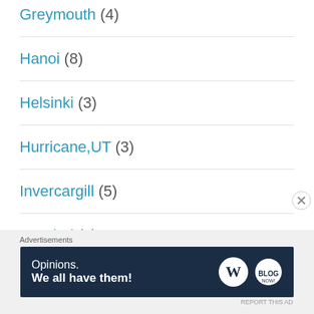Greymouth (4)
Hanoi (8)
Helsinki (3)
Hurricane,UT (3)
Invercargill (5)
Istanbul (1)
Kaikoura (2)
Advertisements
[Figure (other): WordPress advertisement banner: 'Opinions. We all have them!' with WordPress and blog logos on dark navy background]